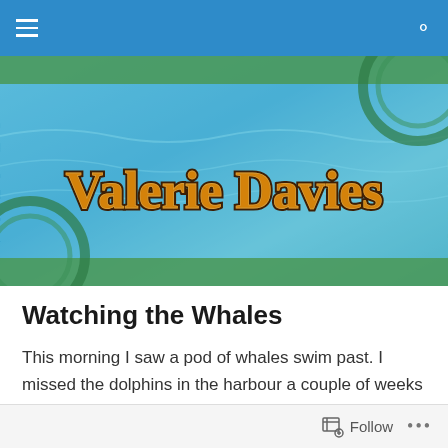Navigation bar with hamburger menu and search icon
[Figure (illustration): Website header banner with water/ocean texture background in blue and green tones, featuring the text 'Valerie Davies' in decorative golden/brown fantasy-style font with dark outline]
Watching the Whales
This morning I saw a pod of whales swim past. I missed the dolphins in the harbour a couple of weeks ago, when the children went in to swim with them. But I think I may have been the only one to see the whales.
Follow ...